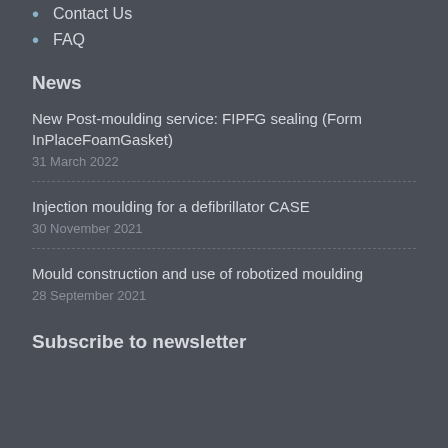Contact Us
FAQ
News
New Post-moulding service: FIPFG sealing (Form InPlaceFoamGasket)
31 March 2022
Injection moulding for a defibrillator CASE
30 November 2021
Mould construction and use of robotized moulding
28 September 2021
Subscribe to newsletter